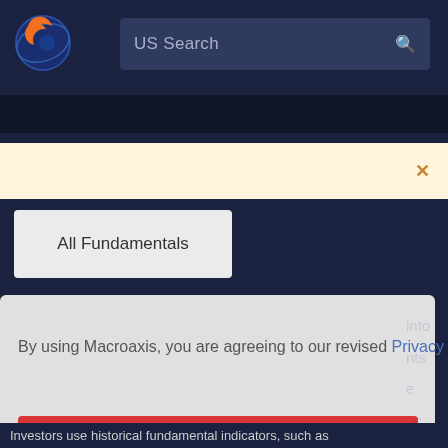[Figure (logo): Macroaxis globe logo - orange and blue circle icon]
US Search
All Fundamentals
By using Macroaxis, you are agreeing to our revised Privacy Policy
OK
Investors use historical fundamental indicators, such as